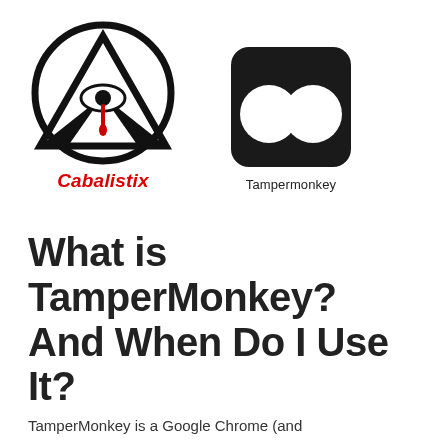[Figure (logo): Cabalistix logo: triangle with all-seeing eye inside a circle, with red drip and italic red text 'Cabalistix' below]
[Figure (logo): Tampermonkey logo: rounded black square with two white circles, label 'Tampermonkey' below]
What is TamperMonkey? And When Do I Use It?
TamperMonkey is a Google Chrome (and